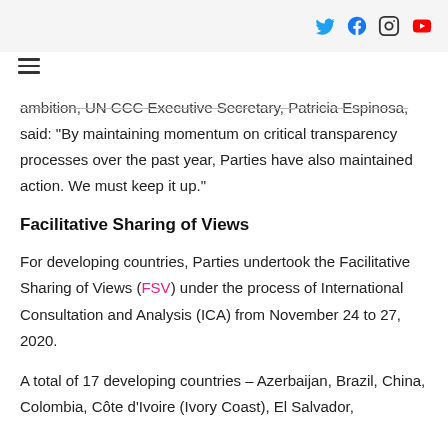[Social media icons: Twitter, Facebook, Instagram, YouTube] [Hamburger menu]
ambition, UN CCC Executive Secretary, Patricia Espinosa, said: “By maintaining momentum on critical transparency processes over the past year, Parties have also maintained action. We must keep it up.”
Facilitative Sharing of Views
For developing countries, Parties undertook the Facilitative Sharing of Views (FSV) under the process of International Consultation and Analysis (ICA) from November 24 to 27, 2020.
A total of 17 developing countries – Azerbaijan, Brazil, China, Colombia, Côte d’Ivoire (Ivory Coast), El Salvador,